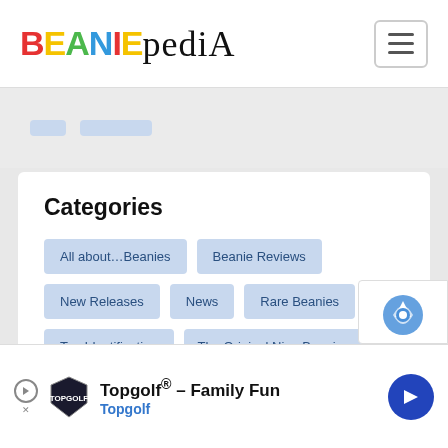BEANIEPEDIA
All about...Beanies
Beanie Reviews
New Releases
News
Rare Beanies
Tag Identification
The Original Nine Beanies
What are my Beanie Babies worth?
Categories
Topgolf® - Family Fun Topgolf